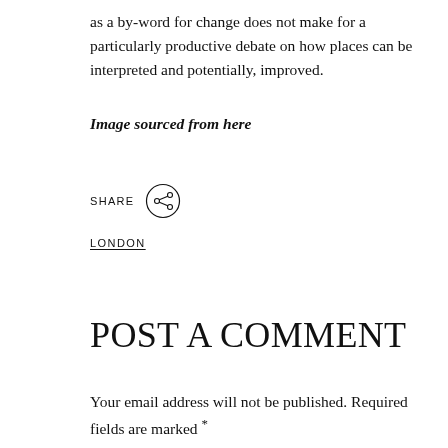as a by-word for change does not make for a particularly productive debate on how places can be interpreted and potentially, improved.
Image sourced from here
[Figure (other): Share icon — a circle with a share/network symbol inside]
LONDON
POST A COMMENT
Your email address will not be published. Required fields are marked *